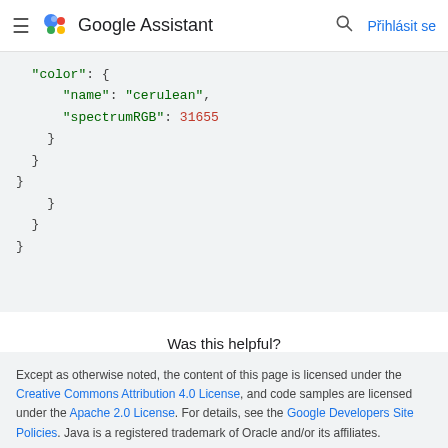Google Assistant — Prihlasit se
"color": {
    "name": "cerulean",
    "spectrumRGB": 31655
  }
}
}
}
}
Was this helpful?
[Figure (illustration): Thumbs up and thumbs down feedback icons]
Except as otherwise noted, the content of this page is licensed under the Creative Commons Attribution 4.0 License, and code samples are licensed under the Apache 2.0 License. For details, see the Google Developers Site Policies. Java is a registered trademark of Oracle and/or its affiliates.